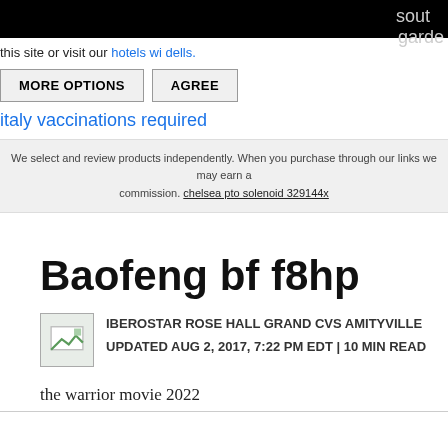sout
garde
this site or visit our hotels wi dells.
MORE OPTIONS   AGREE
italy vaccinations required
We select and review products independently. When you purchase through our links we may earn a commission. chelsea pto solenoid 329144x
Baofeng bf f8hp
IBEROSTAR ROSE HALL GRAND CVS AMITYVILLE
UPDATED AUG 2, 2017, 7:22 PM EDT | 10 MIN READ
the warrior movie 2022